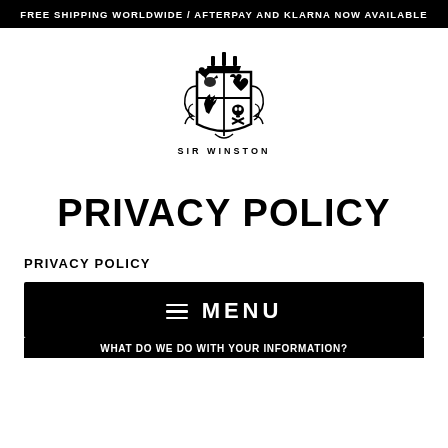FREE SHIPPING WORLDWIDE / AFTERPAY AND KLARNA NOW AVAILABLE
[Figure (logo): Sir Winston heraldic crest logo with crown, shield divided into four quadrants containing a bird, heart, feather, and skull/crossbones, with decorative scrollwork. Below reads SIR WINSTON.]
PRIVACY POLICY
PRIVACY POLICY
≡ MENU
WHAT DO WE DO WITH YOUR INFORMATION?